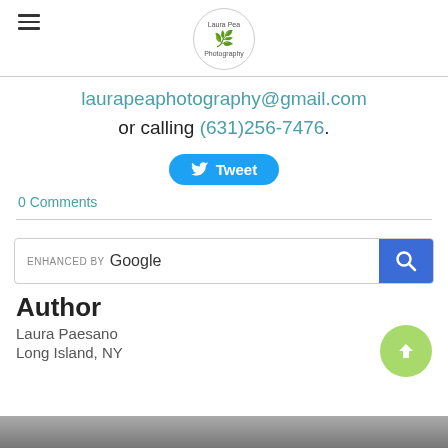Laura Pea Photography logo and hamburger menu
laurapeaphotography@gmail.com or calling (631)256-7476.
[Figure (other): Tweet button with Twitter bird icon]
0 Comments
[Figure (other): Enhanced by Google search bar with blue search button]
Author
Laura Paesano
Long Island, NY
[Figure (photo): Photo strip at bottom of page, partially visible]